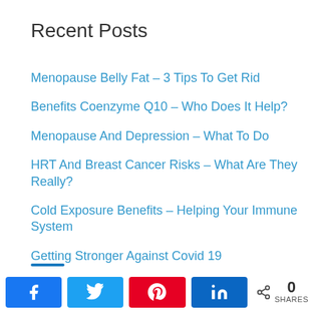Recent Posts
Menopause Belly Fat – 3 Tips To Get Rid
Benefits Coenzyme Q10 – Who Does It Help?
Menopause And Depression – What To Do
HRT And Breast Cancer Risks – What Are They Really?
Cold Exposure Benefits – Helping Your Immune System
Getting Stronger Against Covid 19
What Helps Stress Helps Your Immune System Too
What Do Mitochondria Do – Immune System Support